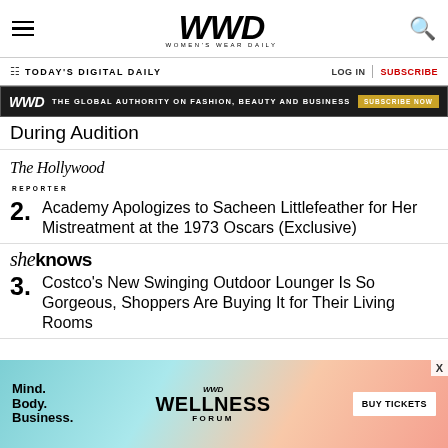WWD — Women's Wear Daily
TODAY'S DIGITAL DAILY | LOG IN | SUBSCRIBE
[Figure (infographic): WWD ad banner: THE GLOBAL AUTHORITY ON FASHION, BEAUTY AND BUSINESS — SUBSCRIBE NOW]
During Audition
2. Academy Apologizes to Sacheen Littlefeather for Her Mistreatment at the 1973 Oscars (Exclusive) — The Hollywood Reporter
3. Costco's New Swinging Outdoor Lounger Is So Gorgeous, Shoppers Are Buying It for Their Living Rooms — SheKnows
[Figure (infographic): Bottom ad: Mind. Body. Business. WWD WELLNESS FORUM — BUY TICKETS]